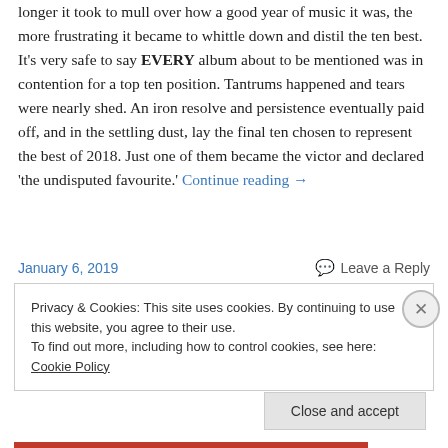longer it took to mull over how a good year of music it was, the more frustrating it became to whittle down and distil the ten best. It's very safe to say EVERY album about to be mentioned was in contention for a top ten position. Tantrums happened and tears were nearly shed. An iron resolve and persistence eventually paid off, and in the settling dust, lay the final ten chosen to represent the best of 2018. Just one of them became the victor and declared 'the undisputed favourite.' Continue reading →
January 6, 2019
Leave a Reply
Privacy & Cookies: This site uses cookies. By continuing to use this website, you agree to their use.
To find out more, including how to control cookies, see here: Cookie Policy
Close and accept